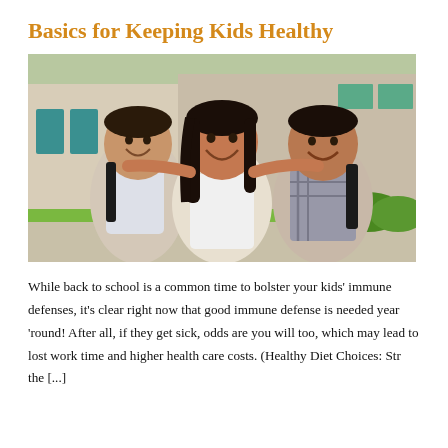Basics for Keeping Kids Healthy
[Figure (photo): Three smiling Hispanic children with backpacks standing outside a school building. The girl in the middle has her arms around the two boys on either side of her.]
While back to school is a common time to bolster your kids' immune defenses, it's clear right now that good immune defense is needed year 'round!  After all, if they get sick, odds are you will too, which may lead to lost work time and higher health care costs. (Healthy Diet Choices: Str the [...]